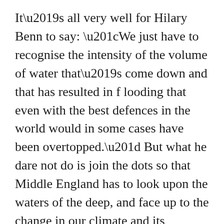It’s all very well for Hilary Benn to say: “We just have to recognise the intensity of the volume of water that’s come down and that has resulted in f looding that even with the best defences in the world would in some cases have been overtopped.” But what he dare not do is join the dots so that Middle England has to look upon the waters of the deep, and face up to the change in our climate and its disastrous results.
We have ceased to be a country where our temperate climate is matched only by our equanimity of character. Gone are the days when we could lightly mock our light London